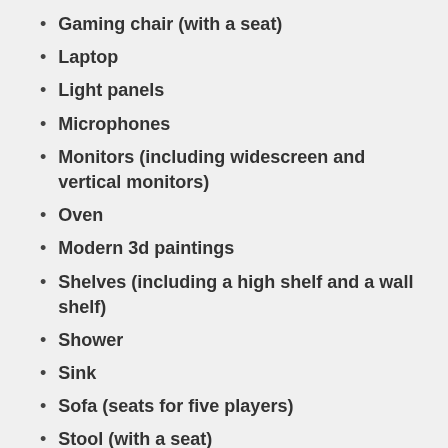Gaming chair (with a seat)
Laptop
Light panels
Microphones
Monitors (including widescreen and vertical monitors)
Oven
Modern 3d paintings
Shelves (including a high shelf and a wall shelf)
Shower
Sink
Sofa (seats for five players)
Stool (with a seat)
Telescope
Television
Toilet
Wall Clock
Computer